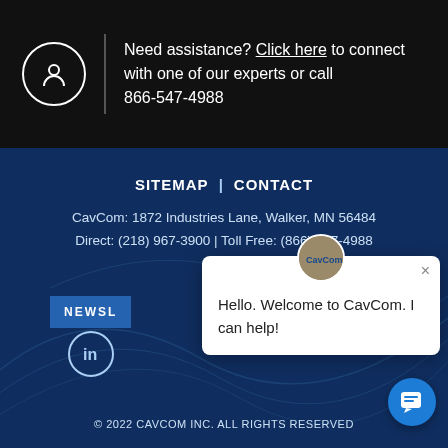Need assistance? Click here to connect with one of our experts or call 866-547-4988
SITEMAP | CONTACT
CavCom: 1872 Industries Lane, Walker, MN 56484
Direct: (218) 967-3900 | Toll Free: (866) 547-4988
NEWSL...
[Figure (other): LinkedIn circle icon]
Hello. Welcome to CavCom. I can help!
© 2022 CAVCOM INC. ALL RIGHTS RESERVED